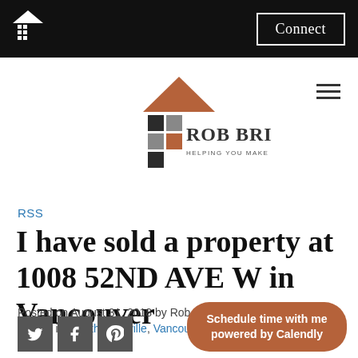Connect
[Figure (logo): Rob Britch real estate logo with house icon and text 'Rob Britch - Helping You Make The Right Move']
RSS
I have sold a property at 1008 52ND AVE W in Vancouver
Posted on August 31, 2018 by Rob Britch
Posted in: South Granville, Vancouver West Real Estate
[Figure (illustration): Social share icons: Twitter, Facebook, Pinterest]
Schedule time with me powered by Calendly